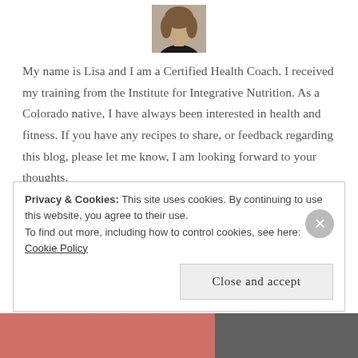[Figure (photo): Profile photo of a woman with curly hair wearing a black top, shown from shoulders up against a neutral background.]
My name is Lisa and I am a Certified Health Coach. I received my training from the Institute for Integrative Nutrition. As a Colorado native, I have always been interested in health and fitness. If you have any recipes to share, or feedback regarding this blog, please let me know, I am looking forward to your thoughts.
Privacy & Cookies: This site uses cookies. By continuing to use this website, you agree to their use.
To find out more, including how to control cookies, see here: Cookie Policy
Close and accept